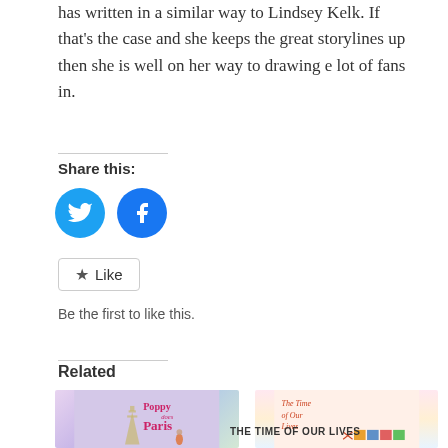has written in a similar way to Lindsey Kelk. If that's the case and she keeps the great storylines up then she is well on her way to drawing e lot of fans in.
Share this:
[Figure (illustration): Twitter and Facebook social share buttons as teal/blue circular icons]
[Figure (illustration): Like button with star icon]
Be the first to like this.
Related
[Figure (illustration): Book cover: Poppy does Paris]
[Figure (illustration): Book cover: The Time of Our Lives]